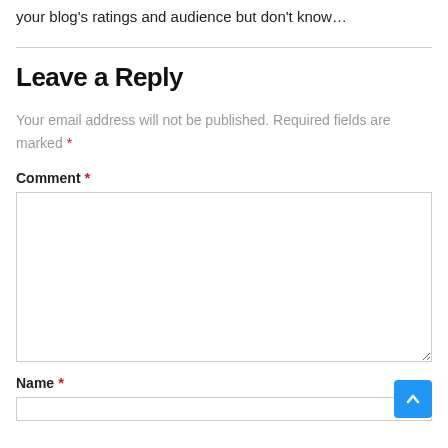your blog's ratings and audience but don't know…
Leave a Reply
Your email address will not be published. Required fields are marked *
Comment *
Name *